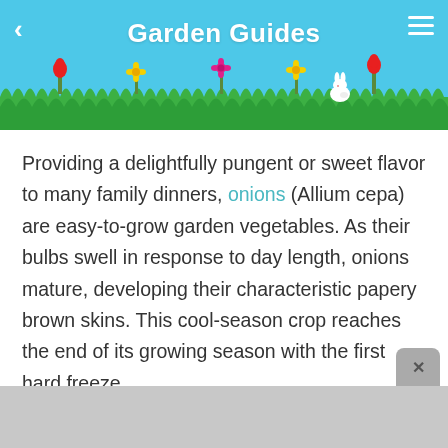Garden Guides
[Figure (illustration): Garden header illustration with sky blue background, grass/hedge silhouette in green, colorful flowers (red tulips, yellow flowers, pink/magenta flowers), a small white rabbit, against a light blue sky]
Providing a delightfully pungent or sweet flavor to many family dinners, onions (Allium cepa) are easy-to-grow garden vegetables. As their bulbs swell in response to day length, onions mature, developing their characteristic papery brown skins. This cool-season crop reaches the end of its growing season with the first hard freeze.